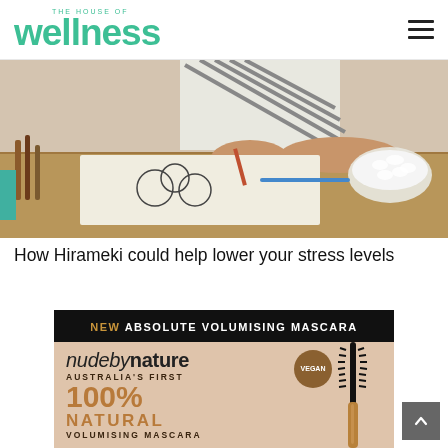THE HOUSE OF wellness
[Figure (photo): Person drawing or coloring at a wooden table with art supplies and a bowl of marshmallows]
How Hirameki could help lower your stress levels
[Figure (infographic): Nude by Nature advertisement: NEW ABSOLUTE VOLUMISING MASCARA — nude by nature AUSTRALIA'S FIRST 100% NATURAL VOLUMISING MASCARA, with VEGAN badge and mascara product image]